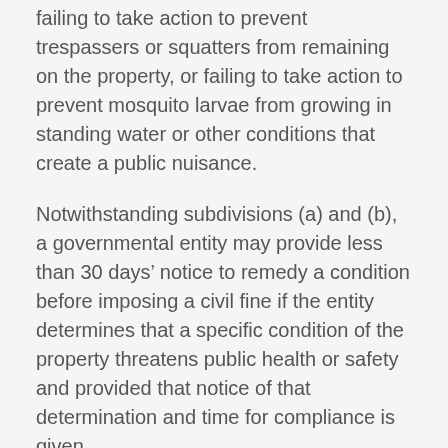failing to take action to prevent trespassers or squatters from remaining on the property, or failing to take action to prevent mosquito larvae from growing in standing water or other conditions that create a public nuisance.
Notwithstanding subdivisions (a) and (b), a governmental entity may provide less than 30 days’ notice to remedy a condition before imposing a civil fine if the entity determines that a specific condition of the property threatens public health or safety and provided that notice of that determination and time for compliance is given.
Fines and penalties collected pursuant to this section shall be directed to local nuisance abatement programs, including, but not limited to, legal abatement proceedings.